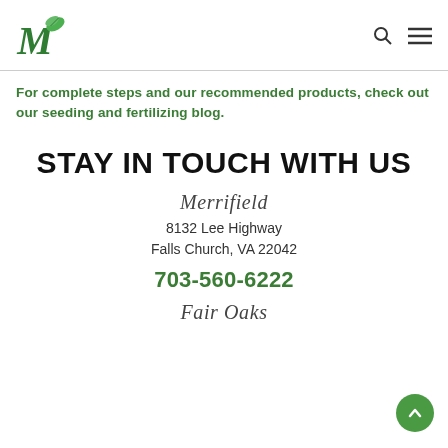M [logo with leaf] | [search icon] [menu icon]
For complete steps and our recommended products, check out our seeding and fertilizing blog.
STAY IN TOUCH WITH US
Merrifield
8132 Lee Highway
Falls Church, VA 22042
703-560-6222
Fair Oaks